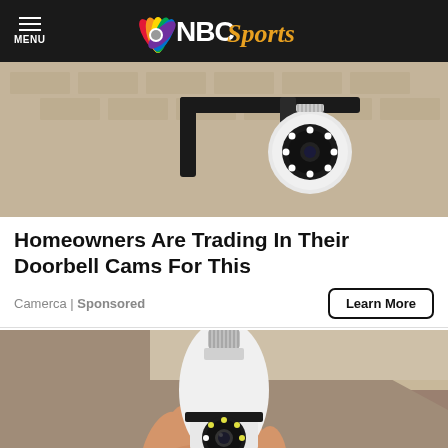NBC Sports
[Figure (photo): Security camera mounted on a brick wall, showing a round white camera with ring of LED lights attached to a black metal bracket]
Homeowners Are Trading In Their Doorbell Cams For This
Camerca | Sponsored
Learn More
[Figure (photo): A hand holding a white light-bulb shaped security camera with LED ring and lens, against a ceiling/wall background]